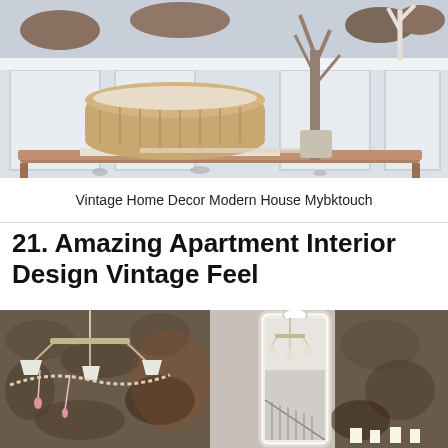[Figure (photo): Photo of a vintage home decor setup with a wooden bench/table, wicker basket, branches in a vase, dried florals and pinecones on a white sideboard]
Vintage Home Decor Modern House Mybktouch
21. Amazing Apartment Interior Design Vintage Feel
[Figure (photo): Three-panel photo of apartment interior with vintage feel: left panel shows chandelier with pearl beads and pink pendants against a rough stone wall; center panel shows a full-length white ornate mirror reflecting a chandelier and staircase; right panel shows rough stone wall texture with small white candles]